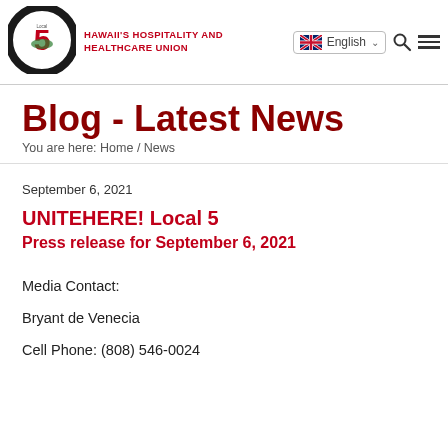[Figure (logo): UNITE HERE! Local 5 Hawaii circular logo with red number 5 and green Hawaii island shape]
HAWAII'S HOSPITALITY AND HEALTHCARE UNION — English language selector, search icon, menu icon
Blog - Latest News
You are here: Home / News
September 6, 2021
UNITEHERE! Local 5
Press release for September 6, 2021
Media Contact:
Bryant de Venecia
Cell Phone: (808) 546-0024